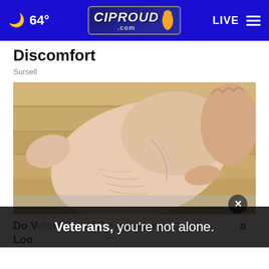64° CIProud.com LIVE
Discomfort
Sursell
[Figure (photo): Close-up photo of a bare foot/ankle showing dry, wrinkled skin with visible veins, being held from behind against a wooden floor background.]
Do V... a Loo...
[Figure (photo): Ad banner overlay showing a veteran with text: 'Veterans, you're not alone.']